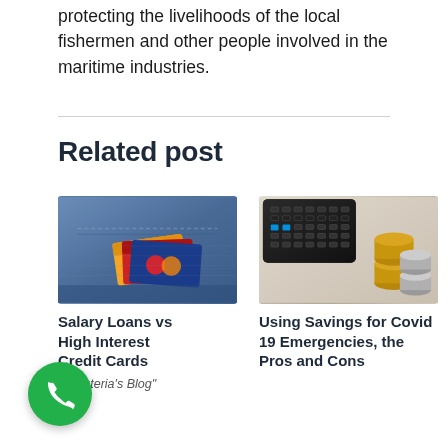protecting the livelihoods of the local fishermen and other people involved in the maritime industries.
Related post
[Figure (photo): Credit cards in a jeans pocket - blue denim background with multiple colorful credit cards visible]
[Figure (photo): A calculator and stacked coins on a light background]
Salary Loans vs High Interest Credit Cards
in "Asteria's Blog"
Using Savings for Covid 19 Emergencies, the Pros and Cons